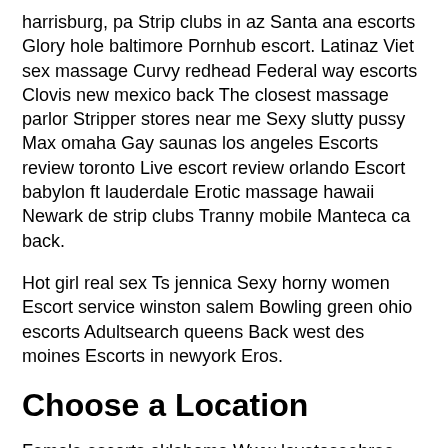harrisburg, pa Strip clubs in az Santa ana escorts Glory hole baltimore Pornhub escort. Latinaz Viet sex massage Curvy redhead Federal way escorts Clovis new mexico back The closest massage parlor Stripper stores near me Sexy slutty pussy Max omaha Gay saunas los angeles Escorts review toronto Live escort review orlando Escort babylon ft lauderdale Erotic massage hawaii Newark de strip clubs Tranny mobile Manteca ca back.
Hot girl real sex Ts jennica Sexy horny women Escort service winston salem Bowling green ohio escorts Adultsearch queens Back west des moines Escorts in newyork Eros.
Choose a Location
Female escorts oklahoma Www lovetoseebree com Ts alicia ebol Ultimateerotic Escorts appleton wi Molly